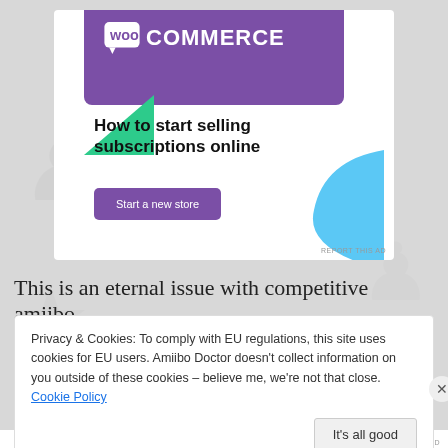[Figure (screenshot): WooCommerce advertisement banner with purple background, WooCommerce logo, green triangle shape, blue curved shape, headline 'How to start selling subscriptions online', and purple 'Start a new store' button]
This is an eternal issue with competitive amiibo
Privacy & Cookies: To comply with EU regulations, this site uses cookies for EU users. Amiibo Doctor doesn't collect information on you outside of these cookies – believe me, we're not that close. Cookie Policy
It's all good